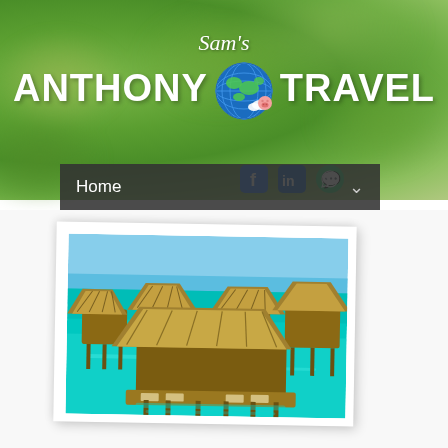[Figure (logo): Sam's Anthony Travel logo with globe and social media icons (Facebook, LinkedIn, WhatsApp) on a blurred green bokeh background]
Home
[Figure (photo): Aerial view of overwater bungalows with thatched roofs in turquoise tropical waters, Bora Bora style resort]